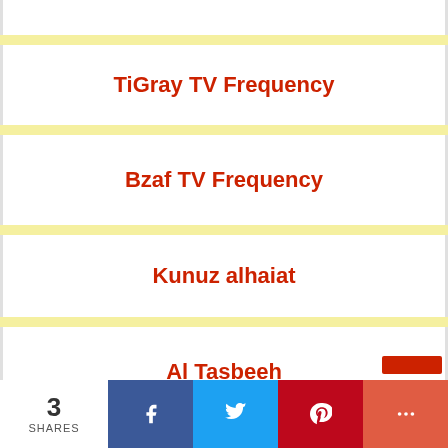TiGray TV Frequency
Bzaf TV Frequency
Kunuz alhaiat
Al Tasbeeh
3 SHARES  [Facebook] [Twitter] [Pinterest] [More]